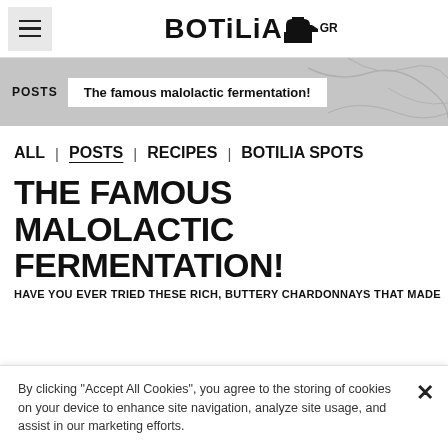BOTiLiA.GR
POSTS  The famous malolactic fermentation!
ALL  |  POSTS  |  RECIPES  |  BOTILIA SPOTS
THE FAMOUS MALOLACTIC FERMENTATION!
HAVE YOU EVER TRIED THESE RICH, BUTTERY CHARDONNAYS THAT MADE
By clicking "Accept All Cookies", you agree to the storing of cookies on your device to enhance site navigation, analyze site usage, and assist in our marketing efforts.